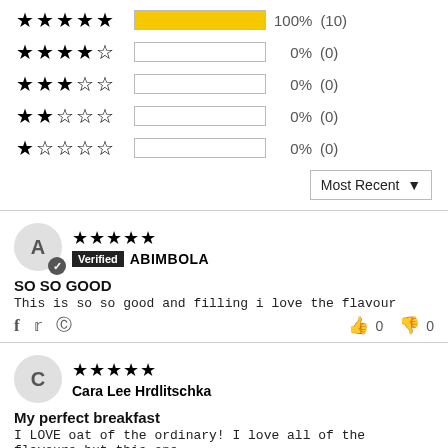[Figure (infographic): Star rating distribution bar chart. 5-star: yellow bar 100% (10), 4-star: empty bar 0% (0), 3-star: empty bar 0% (0), 2-star: empty bar 0% (0), 1-star: empty bar 0% (0)]
Most Recent ▼
★★★★★ Verified ABIMBOLA
SO SO GOOD
This is so so good and filling i love the flavour
f  🐦  Ⓟ   👍 0  👎 0
★★★★★ Cara Lee Hrdlitschka
My perfect breakfast
I LOVE oat of the ordinary! I love all of the flavours but this one